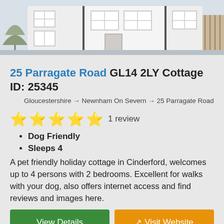[Figure (photo): Photo of a white-rendered terraced house exterior with white uPVC windows, showing the front facade and part of a garden/fence on the right.]
25 Parragate Road GL14 2LY Cottage ID: 25345
Gloucestershire → Newnham On Severn → 25 Parragate Road
⭐⭐⭐⭐⭐ 1 review
Dog Friendly
Sleeps 4
A pet friendly holiday cottage in Cinderford, welcomes up to 4 persons with 2 bedrooms. Excellent for walks with your dog, also offers internet access and find reviews and images here.